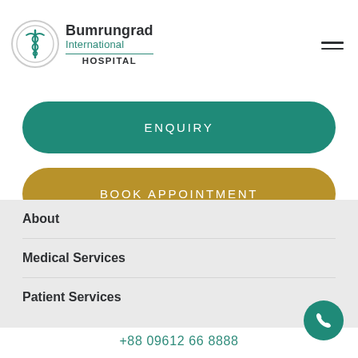[Figure (logo): Bumrungrad International Hospital logo with caduceus symbol in a circle]
ENQUIRY
BOOK APPOINTMENT
About
Medical Services
Patient Services
+88 09612 66 8888